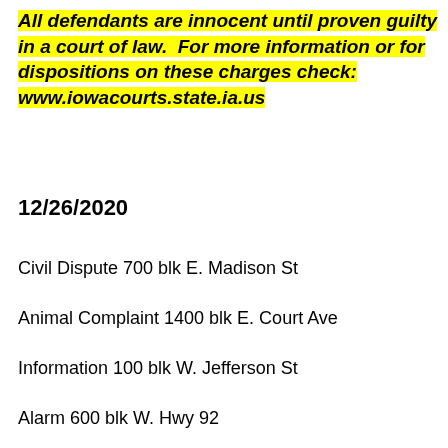All defendants are innocent until proven guilty in a court of law.  For more information or for dispositions on these charges check: www.iowacourts.state.ia.us
12/26/2020
Civil Dispute 700 blk E. Madison St
Animal Complaint 1400 blk E. Court Ave
Information 100 blk W. Jefferson St
Alarm 600 blk W. Hwy 92